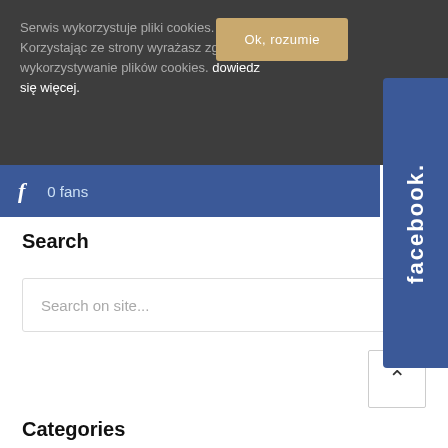Serwis wykorzystuje pliki cookies. Korzystając ze strony wyrażasz zgodę na wykorzystywanie plików cookies. dowiedz się więcej.
Ok, rozumie
[Figure (screenshot): Facebook like bar showing 'f 0 fans' on blue background with 'Like' button on white area to the right]
[Figure (screenshot): Facebook vertical tab on the right side reading 'facebook.' rotated 90 degrees, blue background]
Search
Search on site...
Categories